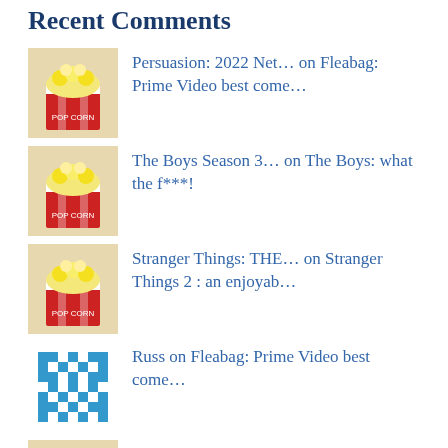Recent Comments
Persuasion: 2022 Net… on Fleabag: Prime Video best come…
The Boys Season 3… on The Boys: what the f***!
Stranger Things: THE… on Stranger Things 2 : an enjoyab…
Russ on Fleabag: Prime Video best come…
The Umbrella Academy… on The Umbrella Academy: Season 2
Archives
August 2022
July 2022
June 2022